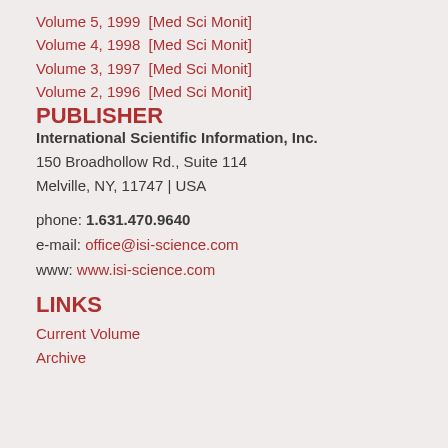Volume 5, 1999  [Med Sci Monit]
Volume 4, 1998  [Med Sci Monit]
Volume 3, 1997  [Med Sci Monit]
Volume 2, 1996  [Med Sci Monit]
PUBLISHER
International Scientific Information, Inc.
150 Broadhollow Rd., Suite 114
Melville, NY, 11747 | USA
phone: 1.631.470.9640
e-mail: office@isi-science.com
www: www.isi-science.com
LINKS
Current Volume
Archive